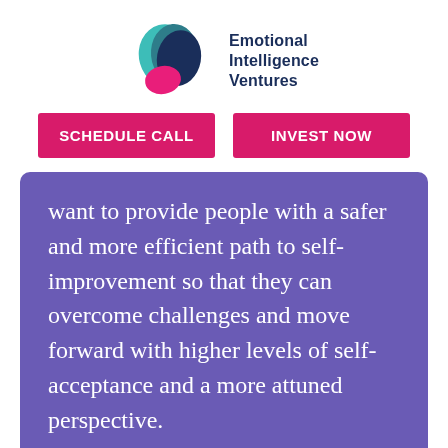[Figure (logo): Emotional Intelligence Ventures logo with overlapping brain/head silhouettes in teal, dark teal, navy, and pink, with bold text 'Emotional Intelligence Ventures' in dark navy.]
SCHEDULE CALL
INVEST NOW
want to provide people with a safer and more efficient path to self-improvement so that they can overcome challenges and move forward with higher levels of self-acceptance and a more attuned perspective.